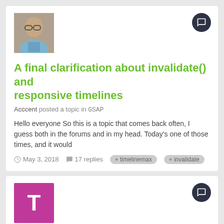[Figure (photo): Avatar photo of user Acccent, an older man with glasses]
A final clarification about invalidate() and responsive timelines
Acccent posted a topic in GSAP
Hello everyone So this is a topic that comes back often, I guess both in the forums and in my head. Today's one of those times, and it would
May 3, 2018   17 replies   timelinemax   invalidate
[Figure (illustration): Avatar letter T in magenta/pink square for user twentytwo-jase]
Why does my bike break in some browsers? Rotation? and transformOrigin?
twentytwo-jase posted a topic in GSAP
Hi guys, just a bit of fun - I had a play around with animating some svg elements recently, but in some browsers the frame detaches from the